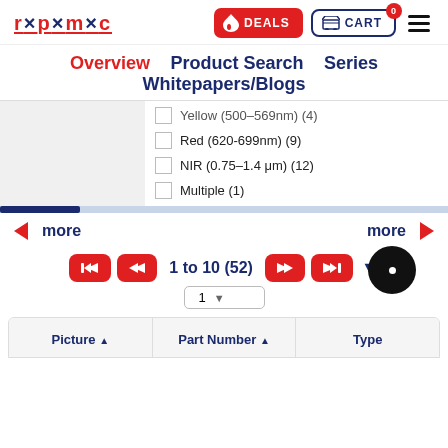[Figure (screenshot): RPMC website header with logo, DEALS button, CART button with badge 0, and hamburger menu]
Overview   Product Search   Series   Whitepapers/Blogs
Yellow (500-569nm) (4)
Red (620-699nm) (9)
NIR (0.75–1.4 μm) (12)
Multiple (1)
more   more
1 to 10 (52)
| Picture | Part Number | Type |
| --- | --- | --- |